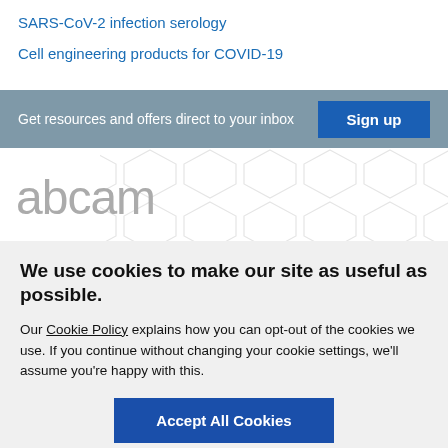SARS-CoV-2 infection serology
Cell engineering products for COVID-19
Get resources and offers direct to your inbox
[Figure (logo): abcam logo in grey on white background with hexagon pattern]
We use cookies to make our site as useful as possible.
Our Cookie Policy explains how you can opt-out of the cookies we use. If you continue without changing your cookie settings, we'll assume you're happy with this.
Accept All Cookies